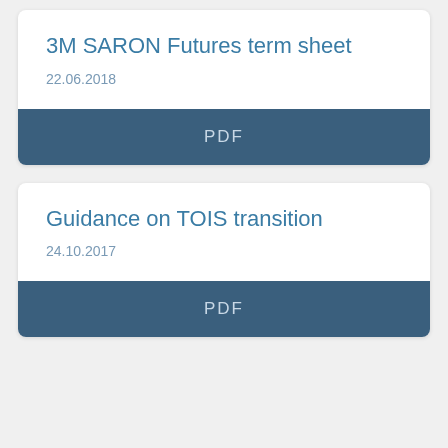3M SARON Futures term sheet
22.06.2018
PDF
Guidance on TOIS transition
24.10.2017
PDF